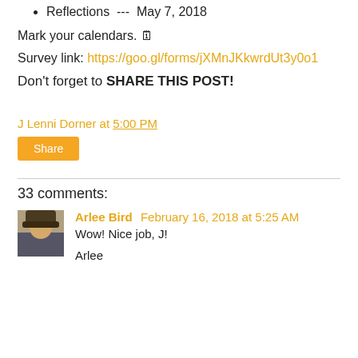Reflections  ---  May 7, 2018
Mark your calendars. 🗓
Survey link: https://goo.gl/forms/jXMnJKkwrdUt3y0o1
Don't forget to SHARE THIS POST!
J Lenni Dorner at 5:00 PM
Share
33 comments:
Arlee Bird February 16, 2018 at 5:25 AM
Wow! Nice job, J!
Arlee